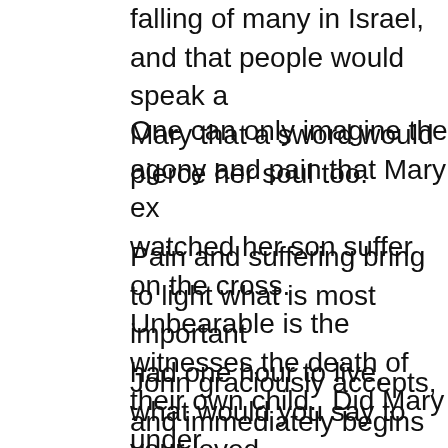falling of many in Israel, and that people would speak a against Mary that a sword would pierce her soul too.
One can only imagine the agony and pain that Mary ex watched her son suffer on the cross. Unbearable is the witnesses the death of their own child. Did Mary under that this was God's plan all along?
Pain and suffering bring to light what is most important had one hour to live, what would you say to your loved mother was on his heart. He knew that he would no lo her. So He now delegates this responsibility to his clos
John graciously accepts, and immediately begins to ca were his own mother. Tradition says that John took Ma lived with him another eleven years before he closed he
Today think about your family. If they are still alive, are them? If possible do that. Then take a second look. A don't have family that you could reach out to and enco